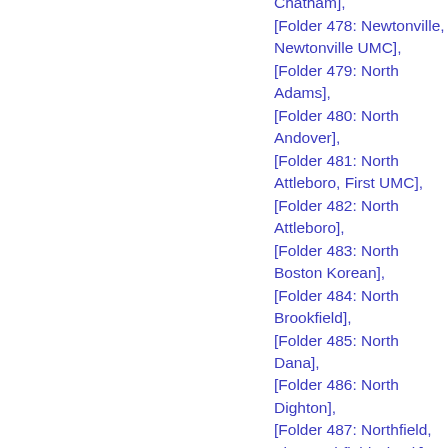[Folder 477: North Chatham], [Folder 478: Newtonville, Newtonville UMC], [Folder 479: North Adams], [Folder 480: North Andover], [Folder 481: North Attleboro, First UMC], [Folder 482: North Attleboro], [Folder 483: North Boston Korean], [Folder 484: North Brookfield], [Folder 485: North Dana], [Folder 486: North Dighton], [Folder 487: Northfield, The Northfield Circuit], [Folder 488: North Grafton], [Folder 489: Northampton, First United Methodist],